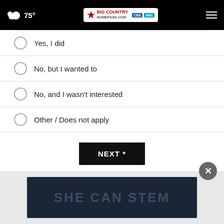75° Big Country Homepage - CBS ABC
Yes, I did
No, but I wanted to
No, and I wasn't interested
Other / Does not apply
NEXT *
* By clicking "NEXT" you agree to the following: We use cookies to track your survey answers. If you would like to continue with this survey, please read and agree to the CivicScience Privacy Policy and Terms of Service
[Figure (other): SHE CAN STEM advertisement banner with dark background]